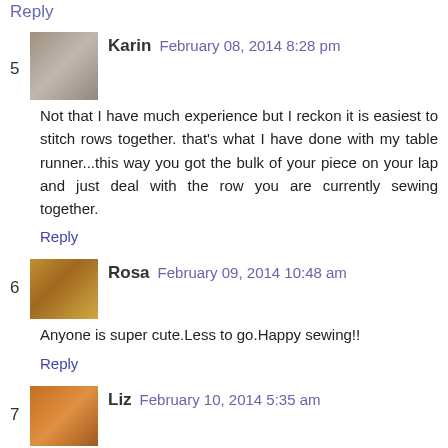Reply
5 Karin February 08, 2014 8:28 pm
Not that I have much experience but I reckon it is easiest to stitch rows together. that's what I have done with my table runner...this way you got the bulk of your piece on your lap and just deal with the row you are currently sewing together.
Reply
6 Rosa February 09, 2014 10:48 am
Anyone is super cute.Less to go.Happy sewing!!
Reply
7 Liz February 10, 2014 5:35 am
They look great! I don't know the answer though, sorry! I guess whichever way you go, you're still going to end up with a whole quilt at some point :-)